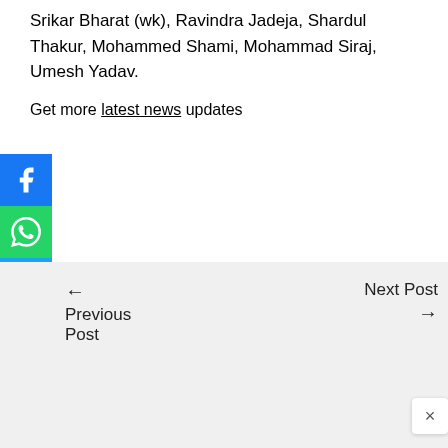Srikar Bharat (wk), Ravindra Jadeja, Shardul Thakur, Mohammed Shami, Mohammad Siraj, Umesh Yadav.
Get more latest news updates
[Figure (other): Social media share buttons: Facebook (blue), WhatsApp (green), Twitter (blue), Pinterest (red)]
← Previous Post
Next Post →